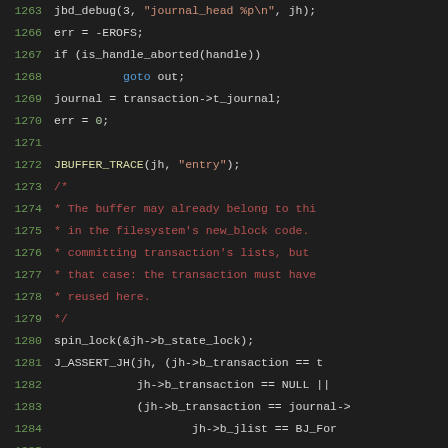[Figure (screenshot): Source code listing in a dark-themed code editor showing C kernel journal code, lines 1263-1286, with syntax highlighting: line numbers in green, keywords in blue, strings in orange, comments in dark red, and default code in light gray.]